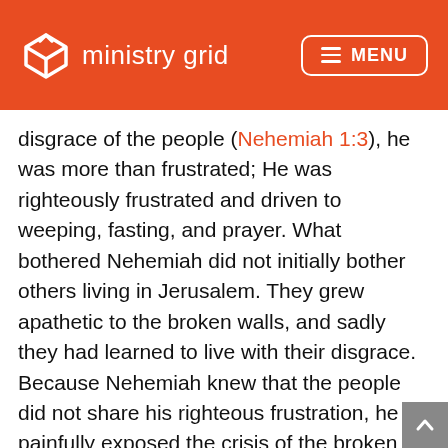ministry grid   MENU
disgrace of the people (Nehemiah 1:3), he was more than frustrated; He was righteously frustrated and driven to weeping, fasting, and prayer. What bothered Nehemiah did not initially bother others living in Jerusalem. They grew apathetic to the broken walls, and sadly they had learned to live with their disgrace. Because Nehemiah knew that the people did not share his righteous frustration, he painfully exposed the crisis of the broken walls. With skill and wisdom, he allowed the burden to become a vision for the future. If you are filled with a righteous frustration, the Lord is developing you for something significant. Live with the burden. Let it form you. Welcome the